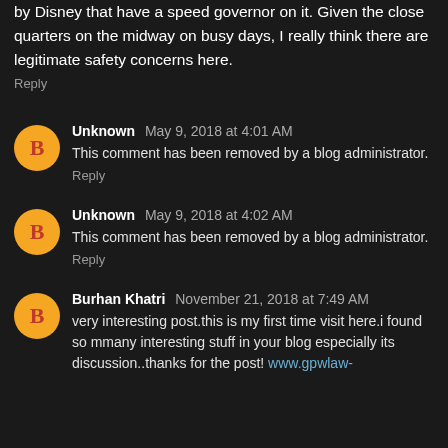by Disney that have a speed governor on it. Given the close quarters on the midway on busy days, I really think there are legitimate safety concerns here.
Reply
Unknown May 9, 2018 at 4:01 AM
This comment has been removed by a blog administrator.
Reply
Unknown May 9, 2018 at 4:02 AM
This comment has been removed by a blog administrator.
Reply
Burhan Khatri November 21, 2018 at 7:49 AM
very interesting post.this is my first time visit here.i found so mmany interesting stuff in your blog especially its discussion..thanks for the post! www.gpwlaw-